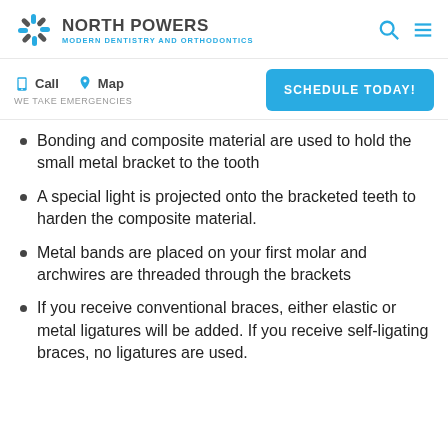NORTH POWERS MODERN DENTISTRY AND ORTHODONTICS
Bonding and composite material are used to hold the small metal bracket to the tooth
A special light is projected onto the bracketed teeth to harden the composite material.
Metal bands are placed on your first molar and archwires are threaded through the brackets
If you receive conventional braces, either elastic or metal ligatures will be added. If you receive self-ligating braces, no ligatures are used.